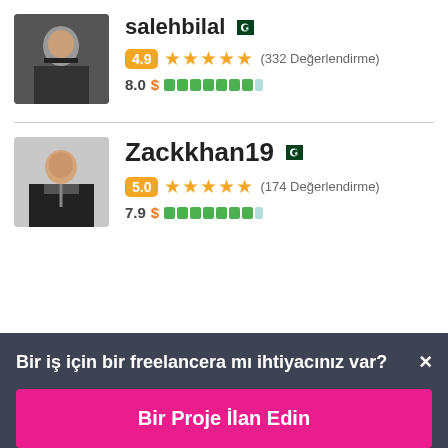[Figure (photo): Profile photo of salehbilal - person at computer, dark background]
salehbilal [Pakistan flag] 4.9 ★★★★★ (332 Değerlendirme) 8.0 $ [earnings bar]
[Figure (photo): Profile photo of Zackkhan19 - man in suit and tie]
Zackkhan19 [Pakistan flag] 5.0 ★★★★★ (174 Değerlendirme) 7.9 $ [earnings bar]
Bir iş için bir freelancera mı ihtiyacınız var? ×
Bir Proje İlan Edin